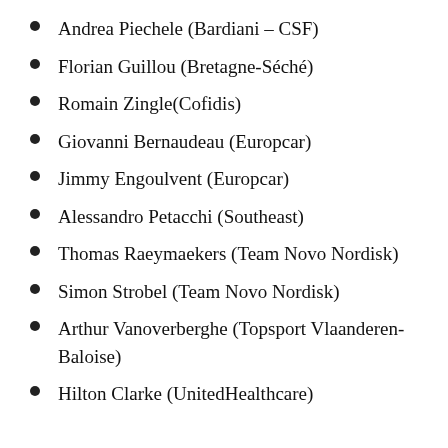Andrea Piechele (Bardiani – CSF)
Florian Guillou (Bretagne-Séché)
Romain Zingle(Cofidis)
Giovanni Bernaudeau (Europcar)
Jimmy Engoulvent (Europcar)
Alessandro Petacchi (Southeast)
Thomas Raeymaekers (Team Novo Nordisk)
Simon Strobel (Team Novo Nordisk)
Arthur Vanoverberghe (Topsport Vlaanderen-Baloise)
Hilton Clarke (UnitedHealthcare)